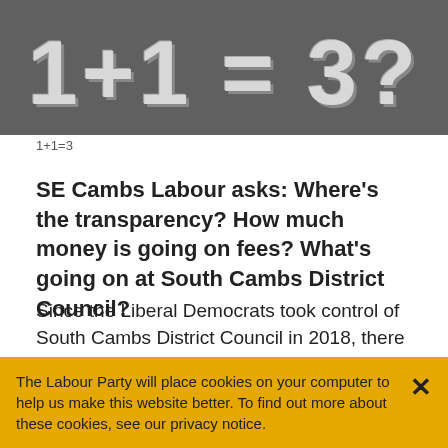[Figure (illustration): Dark grey image with large bold white/light grey text reading '1+1=3?' styled with shadow effects on a chalkboard-like background]
1+1=3
SE Cambs Labour asks: Where’s the transparency? How much money is going on fees? What’s going on at South Cambs District Council?
Since the Liberal Democrats took control of South Cambs District Council in 2018, there has been a distinct lack of transparency when it comes to how the Council spends taxpayers’ money.
The Labour Party will place cookies on your computer to help us make this website better. To find out more about these cookies, see our privacy notice.